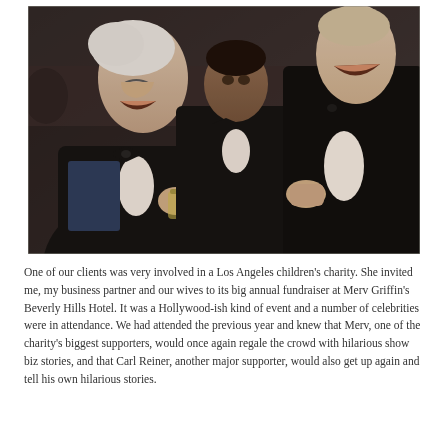[Figure (photo): A black and white photograph of three men in tuxedos at a formal event, laughing and socializing. The man on the left is older with white hair, holding a drink; the man in the middle is of darker complexion; the man on the right is taller and also laughing. All wear black bow ties.]
One of our clients was very involved in a Los Angeles children's charity. She invited me, my business partner and our wives to its big annual fundraiser at Merv Griffin's Beverly Hills Hotel. It was a Hollywood-ish kind of event and a number of celebrities were in attendance. We had attended the previous year and knew that Merv, one of the charity's biggest supporters, would once again regale the crowd with hilarious show biz stories, and that Carl Reiner, another major supporter, would also get up again and tell his own hilarious stories.